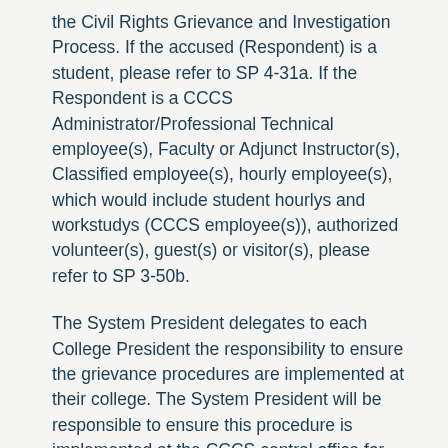the Civil Rights Grievance and Investigation Process. If the accused (Respondent) is a student, please refer to SP 4-31a. If the Respondent is a CCCS Administrator/Professional Technical employee(s), Faculty or Adjunct Instructor(s), Classified employee(s), hourly employee(s), which would include student hourlys and workstudys (CCCS employee(s)), authorized volunteer(s), guest(s) or visitor(s), please refer to SP 3-50b.
The System President delegates to each College President the responsibility to ensure the grievance procedures are implemented at their college. The System President will be responsible to ensure this procedure is implemented at the CCCS central office for central staff employees.
DEFINITIONS